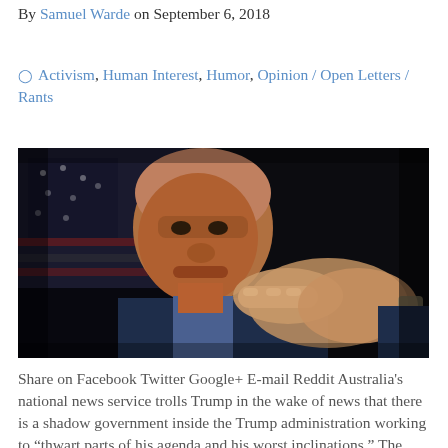By Samuel Warde on September 6, 2018
Activism, Human Interest, Humor, Opinion / Open Letters / Rants
[Figure (photo): A bald older man in a suit pointing his finger toward the camera, with an American flag in the background.]
Share on Facebook Twitter Google+ E-mail Reddit Australia’s national news service trolls Trump in the wake of news that there is a shadow government inside the Trump administration working to “thwart parts of his agenda and his worst inclinations.” The Australian